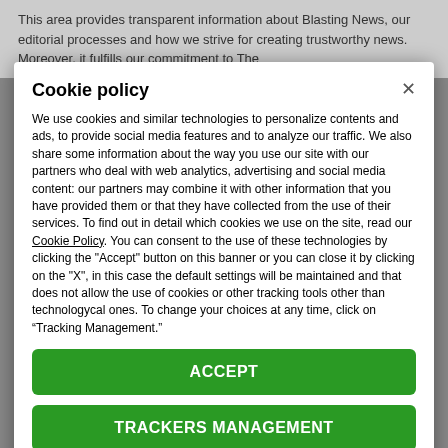This area provides transparent information about Blasting News, our editorial processes and how we strive for creating trustworthy news. Moreover, it fulfills our commitment to The
Cookie policy
We use cookies and similar technologies to personalize contents and ads, to provide social media features and to analyze our traffic. We also share some information about the way you use our site with our partners who deal with web analytics, advertising and social media content: our partners may combine it with other information that you have provided them or that they have collected from the use of their services. To find out in detail which cookies we use on the site, read our Cookie Policy. You can consent to the use of these technologies by clicking the "Accept" button on this banner or you can close it by clicking on the "X", in this case the default settings will be maintained and that does not allow the use of cookies or other tracking tools other than technologycal ones. To change your choices at any time, click on “Tracking Management.”
ACCEPT
TRACKERS MANAGEMENT
Show vendors | Show purposes